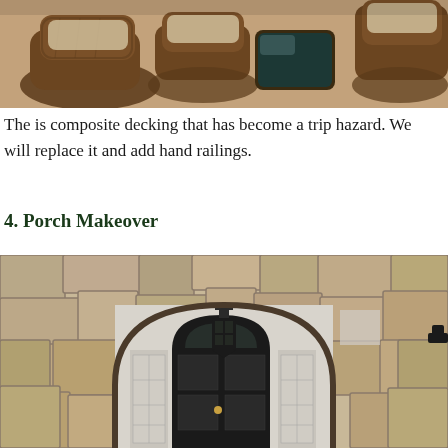[Figure (photo): Photo of outdoor wicker/rattan patio furniture on a deck, viewed from above at an angle. Chairs and a small table visible.]
The is composite decking that has become a trip hazard. We will replace it and add hand railings.
4. Porch Makeover
[Figure (photo): Photo of a stone arch entryway with large irregular stone blocks forming a rounded arch. A black lantern hangs from the arch ceiling. A dark wood and glass door with arched top is visible behind the arch. Sidelights flank the door.]